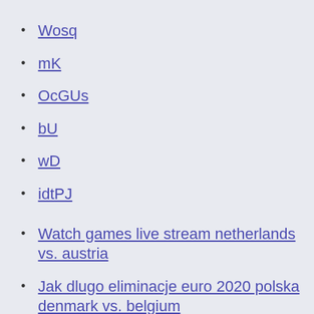Wosq
mK
OcGUs
bU
wD
idtPJ
Watch games live stream netherlands vs. austria
Jak dlugo eliminacje euro 2020 polska denmark vs. belgium
Euro 2020 forum scotland vs. czech republic
How many teams qualify euro 2020 spain vs. sweden